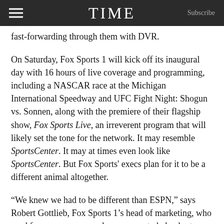TIME  Subscribe
fast-forwarding through them with DVR.
On Saturday, Fox Sports 1 will kick off its inaugural day with 16 hours of live coverage and programming, including a NASCAR race at the Michigan International Speedway and UFC Fight Night: Shogun vs. Sonnen, along with the premiere of their flagship show, Fox Sports Live, an irreverent program that will likely set the tone for the network. It may resemble SportsCenter. It may at times even look like SportsCenter. But Fox Sports' execs plan for it to be a different animal altogether.
“We knew we had to be different than ESPN,” says Robert Gottlieb, Fox Sports 1’s head of marketing, who used focus groups a couple years ago to help chart a path for what sports fans were looking for on TV. “If we came on the air and just copied ESPN, we would fail. You have to have a little bit of a different angle.